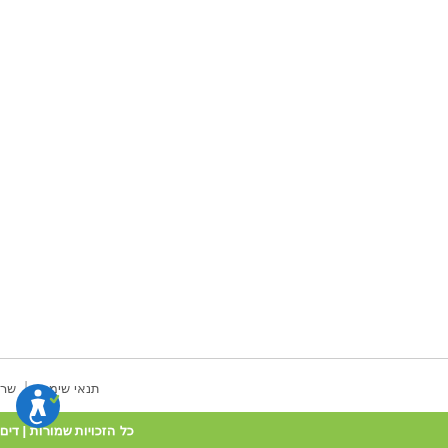תנאי שימוש | שר
כל הזכויות שמורות | דים